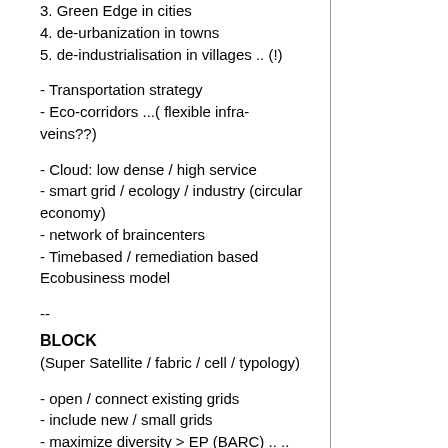3. Green Edge in cities
4. de-urbanization in towns
5. de-industrialisation in villages .. (!)
- Transportation strategy
- Eco-corridors ...( flexible infra-veins??)
- Cloud: low dense / high service
- smart grid / ecology / industry (circular economy)
- network of braincenters
- Timebased / remediation based Ecobusiness model
--
BLOCK
(Super Satellite / fabric / cell / typology)
- open / connect existing grids
- include new / small grids
- maximize diversity > EP (BARC) .. ..
- Open-source planning (let locals